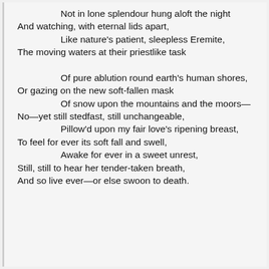Not in lone splendour hung aloft the night
And watching, with eternal lids apart,
        Like nature's patient, sleepless Eremite,
The moving waters at their priestlike task

        Of pure ablution round earth's human shores,
Or gazing on the new soft-fallen mask
        Of snow upon the mountains and the moors—
No—yet still stedfast, still unchangeable,
        Pillow'd upon my fair love's ripening breast,
To feel for ever its soft fall and swell,
        Awake for ever in a sweet unrest,
Still, still to hear her tender-taken breath,
And so live ever—or else swoon to death.